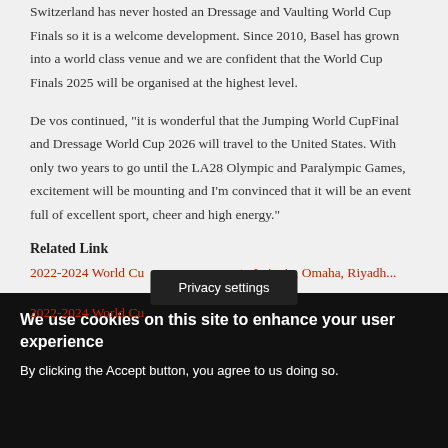Switzerland has never hosted an Dressage and Vaulting World Cup Finals so it is a welcome development. Since 2010, Basel has grown into a world class venue and we are confident that the World Cup Finals 2025 will be organised at the highest level.
De vos continued, "it is wonderful that the Jumping World CupFinal and Dressage World Cup 2026 will travel to the United States. With only two years to go until the LA28 Olympic and Paralympic Games, excitement will be mounting and I'm convinced that it will be an event full of excellent sport, cheer and high energy."
Related Link
2022-2024 World Cu... to Leipzig, Omaha, Riyadh...
Privacy settings
We use cookies on this site to enhance your user experience
By clicking the Accept button, you agree to us doing so.